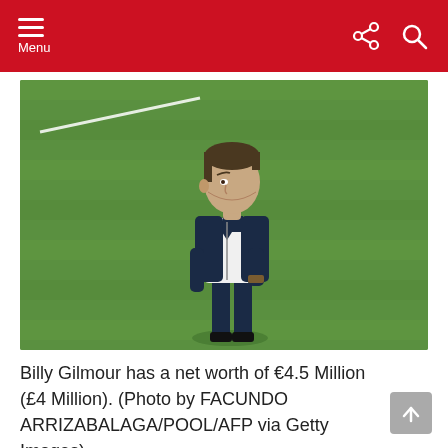Menu
[Figure (photo): Billy Gilmour standing on a football pitch grass, wearing a dark navy zip-up jacket over a white t-shirt and navy trousers, looking to his left. Green grass in background with a white line visible.]
Billy Gilmour has a net worth of €4.5 Million (£4 Million). (Photo by FACUNDO ARRIZABALAGA/POOL/AFP via Getty Images)